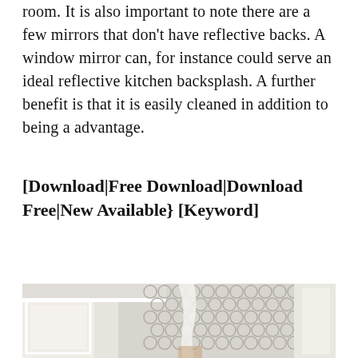room. It is also important to note there are a few mirrors that don't have reflective backs. A window mirror can, for instance could serve an ideal reflective kitchen backsplash. A further benefit is that it is easily cleaned in addition to being a advantage.
[Download|Free Download|Download Free|New Available} [Keyword]
[Figure (photo): Interior room photo showing white walls with decorative circular pattern wallpaper or tile, white molding, and a curtain or drape visible, with bright window light.]